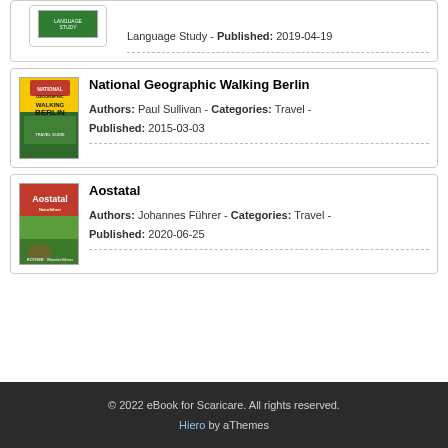Language Study - Published: 2019-04-19
National Geographic Walking Berlin
Authors: Paul Sullivan - Categories: Travel - Published: 2015-03-03
Aostatal
Authors: Johannes Führer - Categories: Travel - Published: 2020-06-25
© 2022 eBook for Scaricare. All rights reserved. Hiero by aThemes